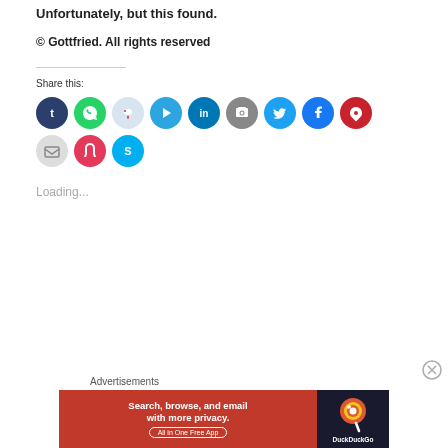Unfortunately, but this found.
© Gottfried. All rights reserved
Share this:
[Figure (other): Row of social media sharing icons: Tumblr (dark navy), WhatsApp (green), Reddit (light blue/gray), Telegram (blue), LinkedIn (dark blue), Print (gray), Twitter (cyan), Facebook (blue), Pinterest (red); second row: Email (gray), Pocket (pink/red), Skype (light blue)]
Loading...
Advertisements
[Figure (other): DuckDuckGo advertisement banner. Orange/red background with text 'Search, browse, and email with more privacy. All in One Free App' and DuckDuckGo logo on dark background.]